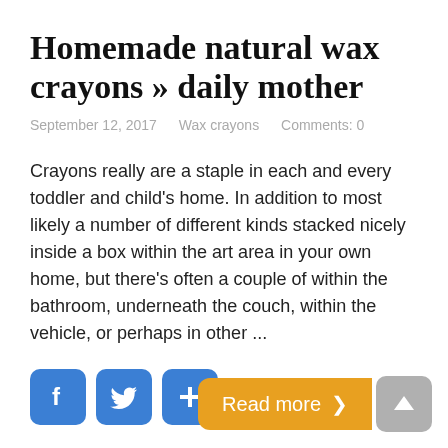Homemade natural wax crayons » daily mother
September 12, 2017    Wax crayons    Comments: 0
Crayons really are a staple in each and every toddler and child's home. In addition to most likely a number of different kinds stacked nicely inside a box within the art area in your own home, but there's often a couple of within the bathroom, underneath the couch, within the vehicle, or perhaps in other ...
[Figure (infographic): Social sharing buttons: Facebook (blue), Twitter (blue), and a plus/share button (blue)]
Read more ➤